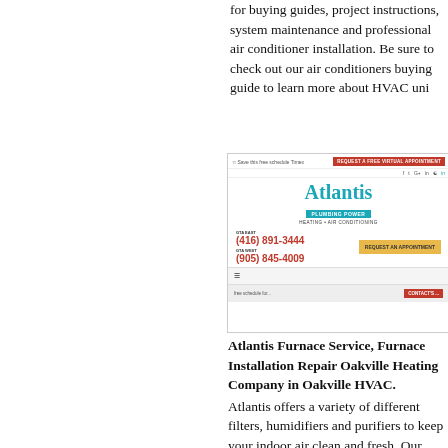for buying guides, project instructions, system maintenance and professional air conditioner installation. Be sure to check out our air conditioners buying guide to learn more about HVAC uni...
[Figure (screenshot): Screenshot of the Atlantis Furnace Service website showing the header with logo, phone numbers (416) 891-3444 and (905) 845-4009, a red 'Request a Free Virtual Appointment' button, yellow 'Request an Appointment' button, and navigation bar.]
Atlantis Furnace Service, Furnace Installation Repair Oakville Heating Company in Oakville HVAC.
Atlantis offers a variety of different filters, humidifiers and purifiers to keep your indoor air clean and fresh. Our knowledgeable and